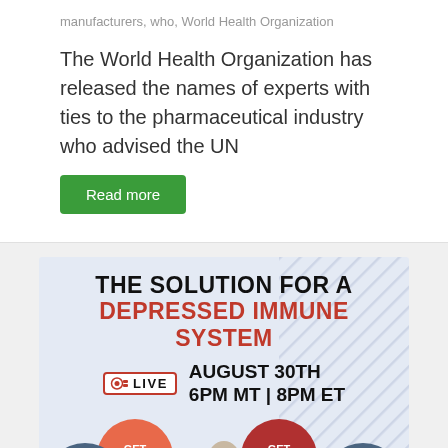manufacturers, who, World Health Organization
The World Health Organization has released the names of experts with ties to the pharmaceutical industry who advised the UN
Read more
[Figure (infographic): Advertisement banner: 'THE SOLUTION FOR A DEPRESSED IMMUNE SYSTEM' with LIVE badge, AUGUST 30TH 6PM MT | 8PM ET, and four circles labeled GET HEALTHY, GET HAPPY, LEARN HOW, JOIN HERE, plus a person figure in the center.]